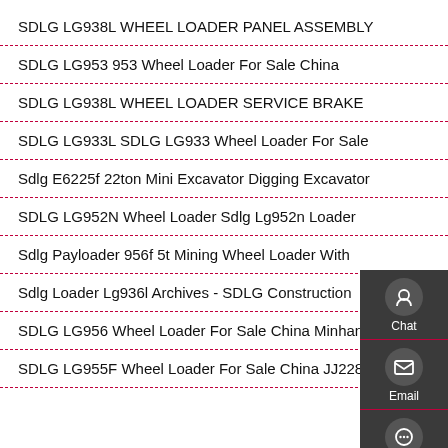SDLG LG938L WHEEL LOADER PANEL ASSEMBLY
SDLG LG953 953 Wheel Loader For Sale China
SDLG LG938L WHEEL LOADER SERVICE BRAKE
SDLG LG933L SDLG LG933 Wheel Loader For Sale
Sdlg E6225f 22ton Mini Excavator Digging Excavator
SDLG LG952N Wheel Loader Sdlg Lg952n Loader
Sdlg Payloader 956f 5t Mining Wheel Loader With
Sdlg Loader Lg936l Archives - SDLG Construction
SDLG LG956 Wheel Loader For Sale China Minhang
SDLG LG955F Wheel Loader For Sale China JJ22864